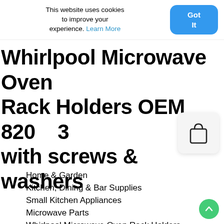This website uses cookies to improve your experience. Learn More
Got It
Whirlpool Microwave Oven Rack Holders OEM 820...3 with screws & washers
[Figure (illustration): Shopping bag / cart icon overlay]
Home & Garden
Kitchen, Dining & Bar Supplies
Small Kitchen Appliances
Microwave Parts
Whirlpool Microwave Oven Rack Holders